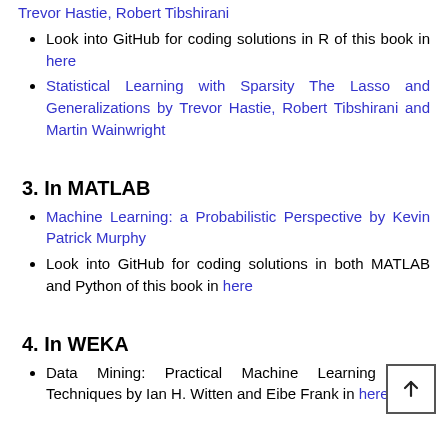Look into GitHub for coding solutions in R of this book in here
Statistical Learning with Sparsity The Lasso and Generalizations by Trevor Hastie, Robert Tibshirani and Martin Wainwright
3. In MATLAB
Machine Learning: a Probabilistic Perspective by Kevin Patrick Murphy
Look into GitHub for coding solutions in both MATLAB and Python of this book in here
4. In WEKA
Data Mining: Practical Machine Learning Tools Techniques by Ian H. Witten and Eibe Frank in here